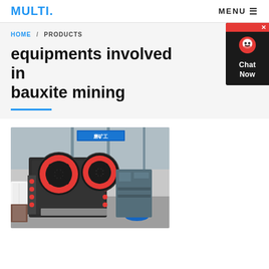MULTI.  MENU
HOME / PRODUCTS
equipments involved in bauxite mining
[Figure (photo): Industrial jaw crusher machine with large red and black flywheels, photographed in a factory/warehouse setting with blue steel structure visible in background.]